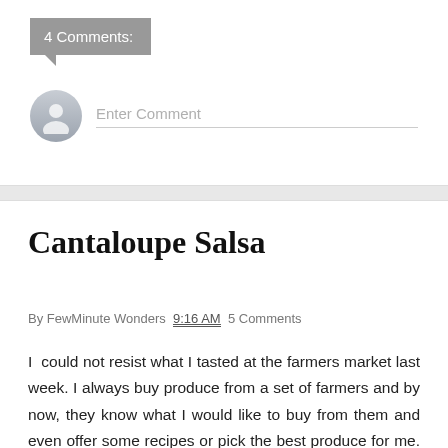4 Comments:
[Figure (other): User avatar circle placeholder icon for comment input area]
Enter Comment
Cantaloupe Salsa
By FewMinute Wonders  9:16 AM  5 Comments
I could not resist what I tasted at the farmers market last week. I always buy produce from a set of farmers and by now, they know what I would like to buy from them and even offer some recipes or pick the best produce for me. In that order, there is this place that